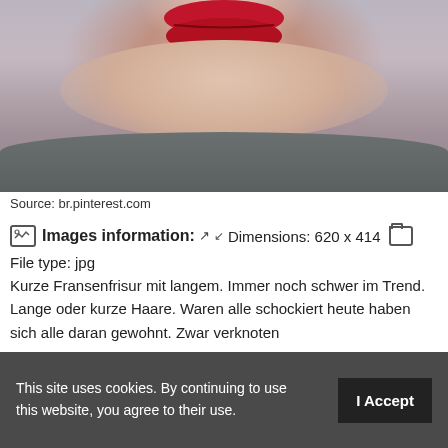[Figure (photo): Close-up photo of a woman's lower face and neck showing bright red lips, fair skin, and a grey top. Background is light grey/purple. Source: br.pinterest.com]
Source: br.pinterest.com
Images information: ↗ ↙ Dimensions: 620 x 414 File type: jpg
Kurze Fransenfrisur mit langem. Immer noch schwer im Trend. Lange oder kurze Haare. Waren alle schockiert heute haben sich alle daran gewohnt. Zwar verknoten
This site uses cookies. By continuing to use this website, you agree to their use. I Accept